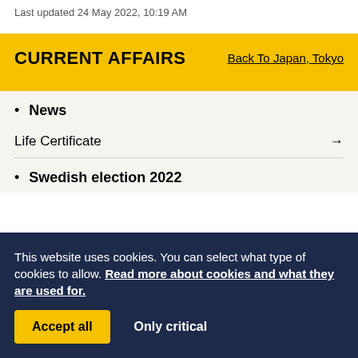Last updated 24 May 2022, 10:19 AM
CURRENT AFFAIRS
Back To Japan, Tokyo
News
Life Certificate →
Swedish election 2022
This website uses cookies. You can select what type of cookies to allow. Read more about cookies and what they are used for.
Accept all
Only critical